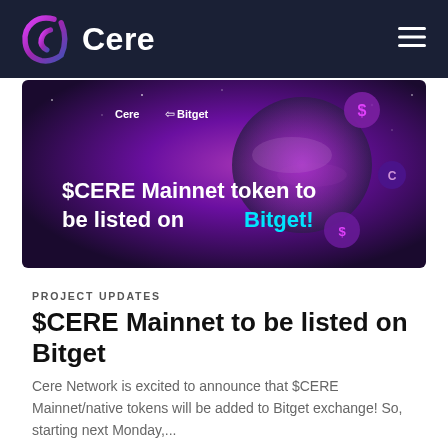Cere
[Figure (illustration): Promotional banner with purple space background showing $CERE Mainnet token to be listed on Bitget! with Cere and Bitget logos]
PROJECT UPDATES
$CERE Mainnet to be listed on Bitget
Cere Network is excited to announce that $CERE Mainnet/native tokens will be added to Bitget exchange! So, starting next Monday,...